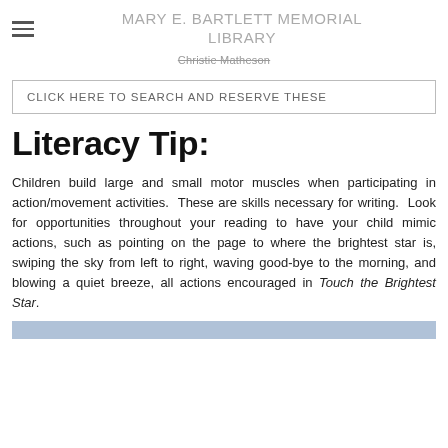MARY E. BARTLETT MEMORIAL LIBRARY
Christie Matheson
CLICK HERE TO SEARCH AND RESERVE THESE
Literacy Tip:
Children build large and small motor muscles when participating in action/movement activities.  These are skills necessary for writing.  Look for opportunities throughout your reading to have your child mimic actions, such as pointing on the page to where the brightest star is, swiping the sky from left to right, waving good-bye to the morning, and blowing a quiet breeze, all actions encouraged in Touch the Brightest Star.